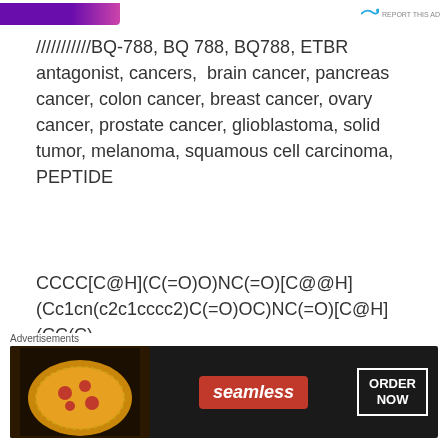///////////BQ-788, BQ 788, BQ788, ETBR antagonist, cancers,  brain cancer, pancreas cancer, colon cancer, breast cancer, ovary cancer, prostate cancer, glioblastoma, solid tumor, melanoma, squamous cell carcinoma, PEPTIDE
Share this: